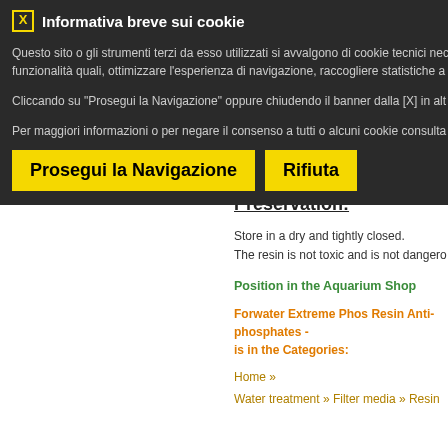Informativa breve sui cookie
Questo sito o gli strumenti terzi da esso utilizzati si avvalgono di cookie tecnici nec funzionalità quali, ottimizzare l'esperienza di navigazione, raccogliere statistiche a Cliccando su "Prosegui la Navigazione" oppure chiudendo il banner dalla [X] in alt Per maggiori informazioni o per negare il consenso a tutti o alcuni cookie consulta
Prosegui la Navigazione
Rifiuta
It is recommended to shake up the bag n
Warnings and Precautions:
degassed material and make it more effe
ach of children. If swallo
May cause eye irritation. In case of cont holding eyelids open.
Preservation:
Store in a dry and tightly closed.
The resin is not toxic and is not dangero
Position in the Aquarium Shop
Forwater Extreme Phos Resin Anti-phosphates - is in the Categories:
Home » Water treatment » Filter media » Resin